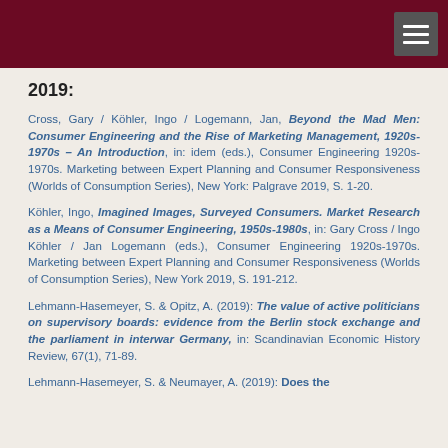2019:
Cross, Gary / Köhler, Ingo / Logemann, Jan, Beyond the Mad Men: Consumer Engineering and the Rise of Marketing Management, 1920s-1970s – An Introduction, in: idem (eds.), Consumer Engineering 1920s-1970s. Marketing between Expert Planning and Consumer Responsiveness (Worlds of Consumption Series), New York: Palgrave 2019, S. 1-20.
Köhler, Ingo, Imagined Images, Surveyed Consumers. Market Research as a Means of Consumer Engineering, 1950s-1980s, in: Gary Cross / Ingo Köhler / Jan Logemann (eds.), Consumer Engineering 1920s-1970s. Marketing between Expert Planning and Consumer Responsiveness (Worlds of Consumption Series), New York 2019, S. 191-212.
Lehmann-Hasemeyer, S. & Opitz, A. (2019): The value of active politicians on supervisory boards: evidence from the Berlin stock exchange and the parliament in interwar Germany, in: Scandinavian Economic History Review, 67(1), 71-89.
Lehmann-Hasemeyer, S. & Neumayer, A. (2019): Does the…